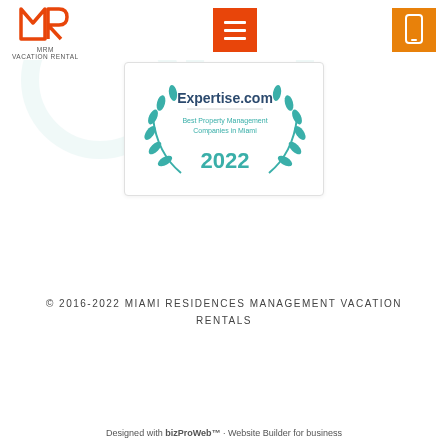[Figure (logo): MRM Vacation Rental logo - orange M and R letters with MRM text and VACATION RENTAL below]
[Figure (other): Orange hamburger/menu button icon (three horizontal lines)]
[Figure (other): Orange phone/mobile icon button]
[Figure (other): Expertise.com award badge - Best Property Management Companies in Miami 2022, with teal laurel wreath]
© 2016-2022 MIAMI RESIDENCES MANAGEMENT VACATION RENTALS
Designed with bizProWeb™ · Website Builder for business